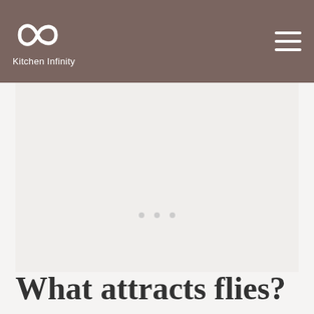Kitchen Infinity
[Figure (other): Large image placeholder area with light gray background and three navigation dots, representing a slideshow or image carousel]
What attracts flies?